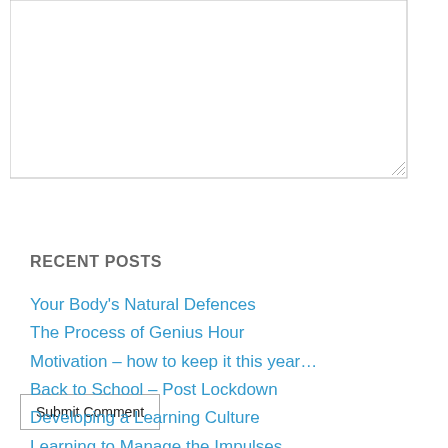[Figure (screenshot): A textarea input box for entering a comment, with a resize handle in the bottom-right corner.]
[Figure (screenshot): A 'Submit Comment' button with a light border.]
RECENT POSTS
Your Body's Natural Defences
The Process of Genius Hour
Motivation – how to keep it this year…
Back to School – Post Lockdown
Developing a Learning Culture
Learning to Manage the Impulses